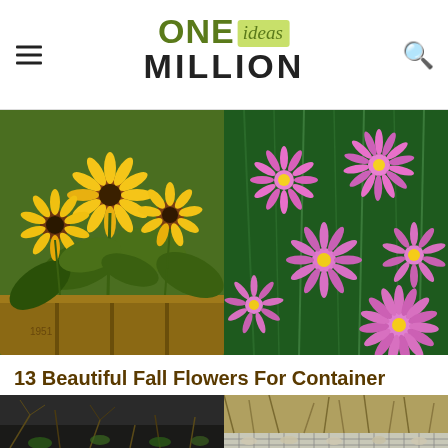ONE ideas MILLION
[Figure (photo): Two photos side by side: left shows yellow black-eyed Susan flowers in a wooden crate planter; right shows pink daisy-like aster flowers with green foliage]
13 Beautiful Fall Flowers For Container Garden
[Figure (photo): Two partial photos side by side at bottom: left shows ground-level garden with twigs and plants on dark soil; right shows ornamental grasses and a wire mesh raised bed border]